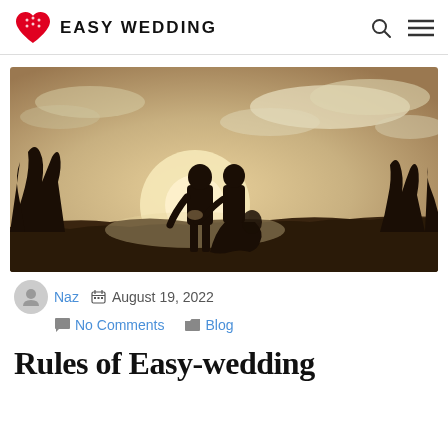EASY WEDDING
[Figure (photo): Silhouette of a bride and groom holding hands outdoors at sunset/golden hour, backlit with warm sepia tones, trees in the background and dramatic cloudy sky above.]
Naz  August 19, 2022  No Comments  Blog
Rules of Easy-wedding